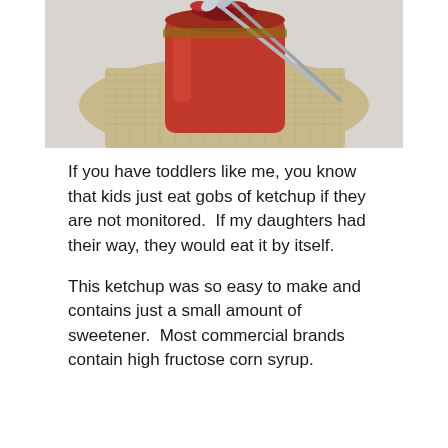[Figure (photo): A glass mason jar filled with red ketchup/tomato sauce, sitting on a burlap/woven cloth mat, with metal spoons resting across the top. The jar exterior is coated in red. Background is a light gray surface.]
If you have toddlers like me, you know that kids just eat gobs of ketchup if they are not monitored.  If my daughters had their way, they would eat it by itself.
This ketchup was so easy to make and contains just a small amount of sweetener.  Most commercial brands contain high fructose corn syrup.